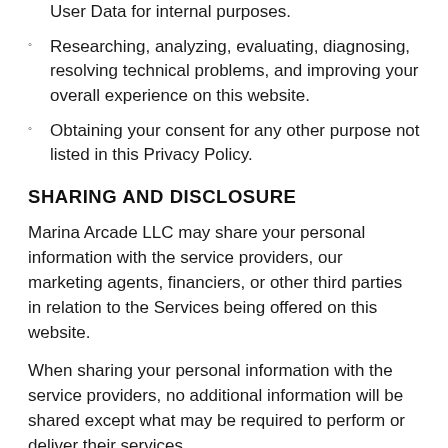User Data for internal purposes.
Researching, analyzing, evaluating, diagnosing, resolving technical problems, and improving your overall experience on this website.
Obtaining your consent for any other purpose not listed in this Privacy Policy.
SHARING AND DISCLOSURE
Marina Arcade LLC may share your personal information with the service providers, our marketing agents, financiers, or other third parties in relation to the Services being offered on this website.
When sharing your personal information with the service providers, no additional information will be shared except what may be required to perform or deliver their services.
All third parties, including the partners and service providers, will be obligated to keep your personal information secure and confidential, but we shall